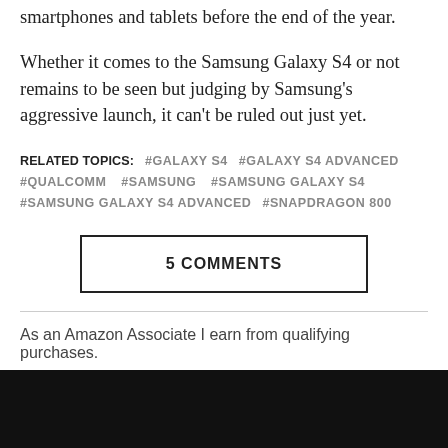smartphones and tablets before the end of the year.
Whether it comes to the Samsung Galaxy S4 or not remains to be seen but judging by Samsung's aggressive launch, it can't be ruled out just yet.
RELATED TOPICS: #GALAXY S4  #GALAXY S4 ADVANCED  #QUALCOMM  #SAMSUNG  #SAMSUNG GALAXY S4  #SAMSUNG GALAXY S4 ADVANCED  #SNAPDRAGON 800
5 COMMENTS
As an Amazon Associate I earn from qualifying purchases.